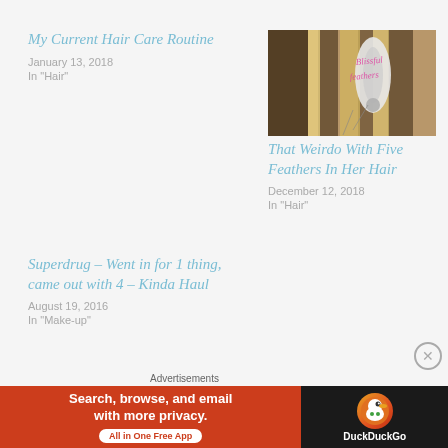My Current Hair Care Routine
January 13, 2018
In "Hair"
[Figure (photo): Close-up photo of blonde hair with feathers and accessories, pink decorative text overlay]
That Weirdo With Five Feathers In Her Hair
December 12, 2018
In "Hair"
Superdrug – Went in for 1 thing, came out with 4 – Kinda Haul
August 19, 2016
In "Make-up"
Advertisements
[Figure (infographic): DuckDuckGo advertisement banner: orange section reads 'Search, browse, and email with more privacy. All in One Free App', black section shows DuckDuckGo logo]